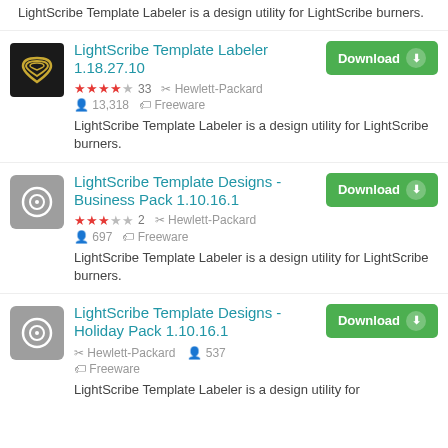LightScribe Template Labeler is a design utility for LightScribe burners.
LightScribe Template Labeler 1.18.27.10
★★★★☆ 33  🔧 Hewlett-Packard  👤 13,318  🏷 Freeware
LightScribe Template Labeler is a design utility for LightScribe burners.
LightScribe Template Designs - Business Pack 1.10.16.1
★★★☆☆ 2  🔧 Hewlett-Packard  👤 697  🏷 Freeware
LightScribe Template Labeler is a design utility for LightScribe burners.
LightScribe Template Designs - Holiday Pack 1.10.16.1
🔧 Hewlett-Packard  👤 537  🏷 Freeware
LightScribe Template Labeler is a design utility for LightScribe burners.